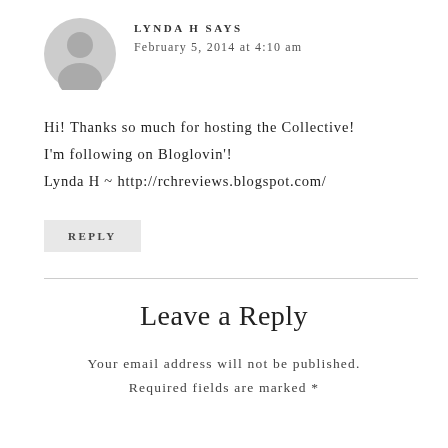[Figure (illustration): Gray circular avatar/profile icon with a silhouette of a person]
LYNDA H SAYS
February 5, 2014 at 4:10 am
Hi! Thanks so much for hosting the Collective! I'm following on Bloglovin'! Lynda H ~ http://rchreviews.blogspot.com/
REPLY
Leave a Reply
Your email address will not be published. Required fields are marked *